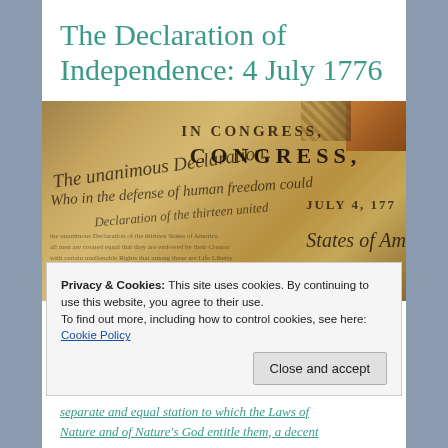The Declaration of Independence: 4 July 1776
[Figure (photo): Close-up photograph of the Declaration of Independence parchment document showing handwritten text including 'In Congress, July 4, 177...' and 'The unanimous Declaration of the thirteen united States of Am...' with cursive handwriting throughout]
Privacy & Cookies: This site uses cookies. By continuing to use this website, you agree to their use.
To find out more, including how to control cookies, see here: Cookie Policy
Close and accept
separate and equal station to which the Laws of Nature and of Nature's God entitle them, a decent